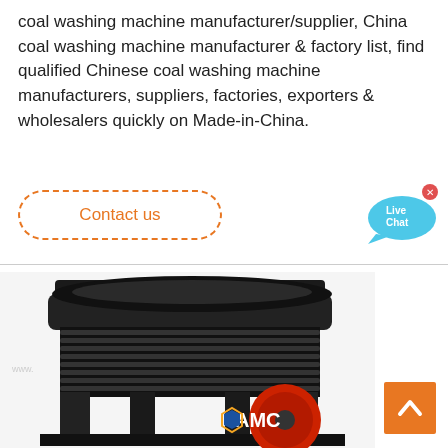coal washing machine manufacturer/supplier, China coal washing machine manufacturer & factory list, find qualified Chinese coal washing machine manufacturers, suppliers, factories, exporters & wholesalers quickly on Made-in-China.
[Figure (other): Contact us button with dashed orange border and orange text]
[Figure (other): Live Chat speech bubble icon in blue with x close button]
[Figure (photo): Industrial coal washing machine / cone crusher with black body, coiled springs, and red flywheel with AMC logo]
[Figure (other): Back to top button, orange square with white upward chevron arrow]